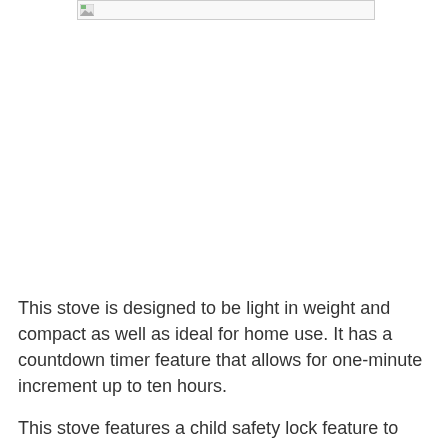[Figure (photo): Broken/unloaded image placeholder at top of page]
This stove is designed to be light in weight and compact as well as ideal for home use. It has a countdown timer feature that allows for one-minute increment up to ten hours.
This stove features a child safety lock feature to protect your